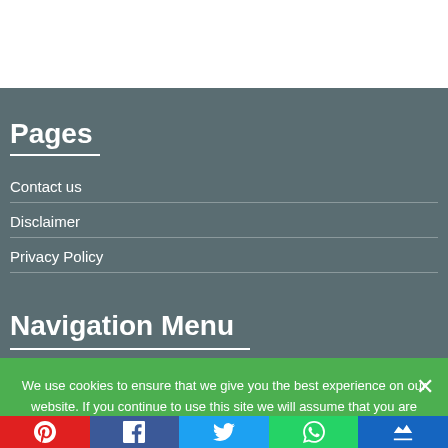Pages
Contact us
Disclaimer
Privacy Policy
Navigation Menu
We use cookies to ensure that we give you the best experience on our website. If you continue to use this site we will assume that you are happy with it.
[Figure (infographic): Social sharing bar with Pinterest (red), Facebook (dark blue), Twitter (light blue), WhatsApp (green), and another button (blue) icons]